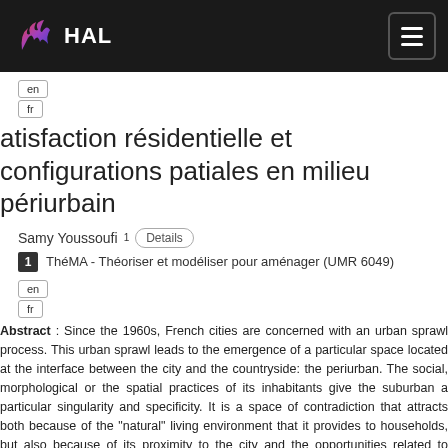HAL
en
fr
atisfaction résidentielle et configurations patiales en milieu périurbain
Samy Youssoufi 1  Details
1  ThéMA - Théoriser et modéliser pour aménager (UMR 6049)
en
fr
Abstract : Since the 1960s, French cities are concerned with an urban sprawl process. This urban sprawl leads to the emergence of a particular space located at the interface between the city and the countryside: the periurban. The social, morphological or the spatial practices of its inhabitants give the suburban a particular singularity and specificity. It is a space of contradiction that attracts both because of the "natural" living environment that it provides to households, but also because of its proximity to the city and the opportunities related to accessibility to various urban amenities.To understand more precisely this enthusiasm for periurban areas, this thesis proposes to explore the individual-residential environment relationship in terms of the satisfaction. The aim is to link cognitive